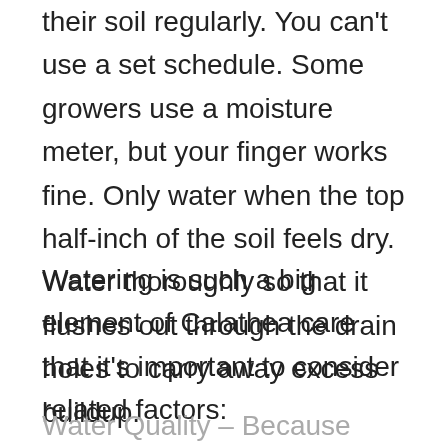their soil regularly. You can't use a set schedule. Some growers use a moisture meter, but your finger works fine. Only water when the top half-inch of the soil feels dry. Water thoroughly so that it flushes out through the drain holes to carry away excess buildup.
Watering is such a big element of Calathea care that it's important to consider related factors:
Water Quality – Because they are so